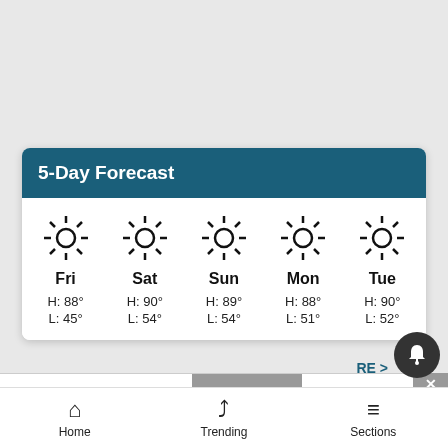5-Day Forecast
| Fri | Sat | Sun | Mon | Tue |
| --- | --- | --- | --- | --- |
| H: 88° | H: 90° | H: 89° | H: 88° | H: 90° |
| L: 45° | L: 54° | L: 54° | L: 51° | L: 52° |
[Figure (screenshot): Bloomingdales advertisement banner: bloomingdales logo, 'View Today's Top Deals!' text, woman with hat image, SHOP NOW > button]
Home   Trending   Sections